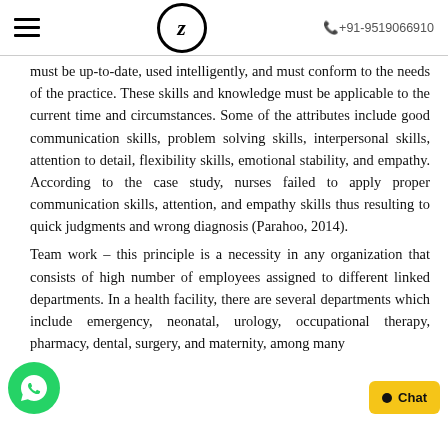≡  Z  +91-9519066910
must be up-to-date, used intelligently, and must conform to the needs of the practice. These skills and knowledge must be applicable to the current time and circumstances. Some of the attributes include good communication skills, problem solving skills, interpersonal skills, attention to detail, flexibility skills, emotional stability, and empathy. According to the case study, nurses failed to apply proper communication skills, attention, and empathy skills thus resulting to quick judgments and wrong diagnosis (Parahoo, 2014).
Team work – this principle is a necessity in any organization that consists of high number of employees assigned to different linked departments. In a health facility, there are several departments which include emergency, neonatal, urology, occupational therapy, pharmacy, dental, surgery, and maternity, among many